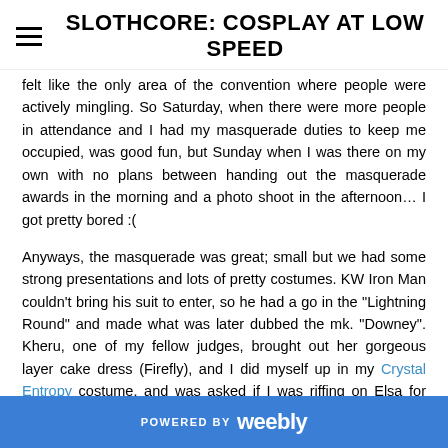SLOTHCORE: COSPLAY AT LOW SPEED
felt like the only area of the convention where people were actively mingling. So Saturday, when there were more people in attendance and I had my masquerade duties to keep me occupied, was good fun, but Sunday when I was there on my own with no plans between handing out the masquerade awards in the morning and a photo shoot in the afternoon… I got pretty bored :(
Anyways, the masquerade was great; small but we had some strong presentations and lots of pretty costumes. KW Iron Man couldn't bring his suit to enter, so he had a go in the "Lightning Round" and made what was later dubbed the mk. "Downey". Kheru, one of my fellow judges, brought out her gorgeous layer cake dress (Firefly), and I did myself up in my Crystal Entropy costume, and was asked if I was riffing on Elsa for most of the day LOL. Sunday I brought out Mrs
POWERED BY weebly